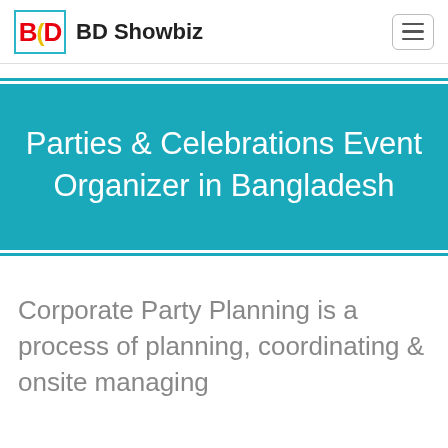BD Showbiz
Parties & Celebrations Event Organizer in Bangladesh
Corporate Party Planning is a process of planning, coordinating & onsite managing